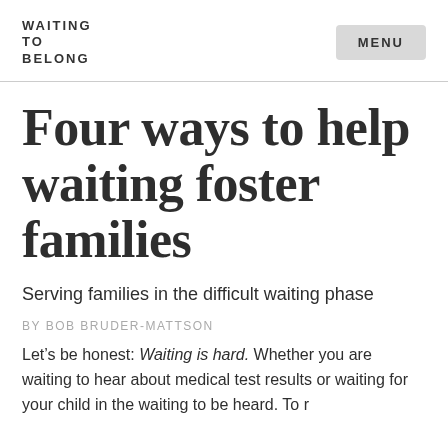WAITING
BELONG
Four ways to help waiting foster families
Serving families in the difficult waiting phase
BY BOB BRUDER-MATTSON
Let’s be honest: Waiting is hard. Whether you are waiting to hear about medical test results or waiting for your child in the waiting to be heard. To r...